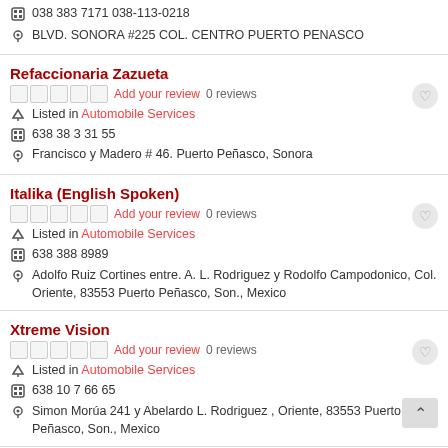038 383 7171 038-113-0218
BLVD. SONORA #225 COL. CENTRO PUERTO PENASCO
Refaccionaria Zazueta
Add your review 0 reviews
Listed in Automobile Services
638 38 3 31 55
Francisco y Madero # 46. Puerto Peñasco, Sonora
Italika (English Spoken)
Add your review 0 reviews
Listed in Automobile Services
638 388 8989
Adolfo Ruiz Cortines entre. A. L. Rodriguez y Rodolfo Campodonico, Col. Oriente, 83553 Puerto Peñasco, Son., Mexico
Xtreme Vision
Add your review 0 reviews
Listed in Automobile Services
638 10 7 66 65
Simon Morúa 241 y Abelardo L. Rodriguez , Oriente, 83553 Puerto Peñasco, Son., Mexico